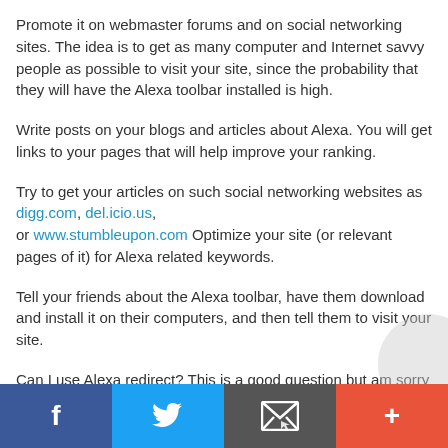Promote it on webmaster forums and on social networking sites. The idea is to get as many computer and Internet savvy people as possible to visit your site, since the probability that they will have the Alexa toolbar installed is high.
Write posts on your blogs and articles about Alexa. You will get links to your pages that will help improve your ranking.
Try to get your articles on such social networking websites as digg.com, del.icio.us, or www.stumbleupon.com Optimize your site (or relevant pages of it) for Alexa related keywords.
Tell your friends about the Alexa toolbar, have them download and install it on their computers, and then tell them to visit your site.
Can I use Alexa redirect? This is a good question but am sorry to say this method does not work, rather you can
Facebook | Twitter | Email | +